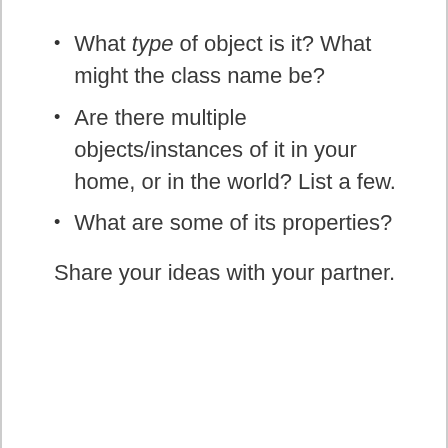What type of object is it? What might the class name be?
Are there multiple objects/instances of it in your home, or in the world? List a few.
What are some of its properties?
Share your ideas with your partner.